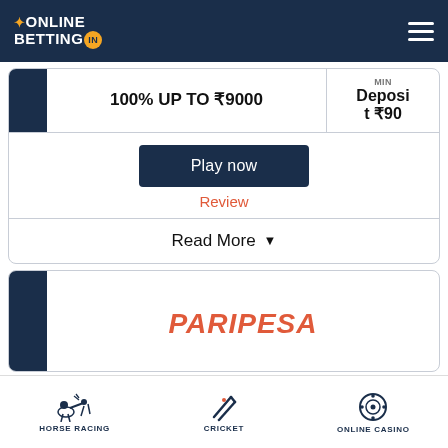OnlineBetting.in
100% UP TO ₹9000
Min Deposit ₹90
Play now
Review
Read More
[Figure (logo): PARIPESA logo in orange italic text]
HORSE RACING  CRICKET  ONLINE CASINO